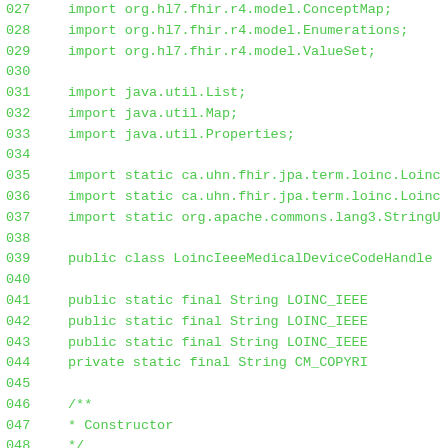Code listing lines 027-055: Java source file showing imports and beginning of class LoincIeeeMedicalDeviceCodeHandler
027    import org.hl7.fhir.r4.model.ConceptMap;
028    import org.hl7.fhir.r4.model.Enumerations;
029    import org.hl7.fhir.r4.model.ValueSet;
030
031    import java.util.List;
032    import java.util.Map;
033    import java.util.Properties;
034
035    import static ca.uhn.fhir.jpa.term.loinc.Loinc
036    import static ca.uhn.fhir.jpa.term.loinc.Loinc
037    import static org.apache.commons.lang3.StringU
038
039    public class LoincIeeeMedicalDeviceCodeHandle
040
041        public static final String LOINC_IEEE
042        public static final String LOINC_IEEE
043        public static final String LOINC_IEEE
044        private static final String CM_COPYRI
045
046        /**
047         * Constructor
048         */
049        public LoincIeeeMedicalDeviceCodeHand
050                        List<ConceptMap> theCo
051                    super(theCode2concept, theValu
052        }
053
054        @Override
055        public void accept(CSVRecord theRecor